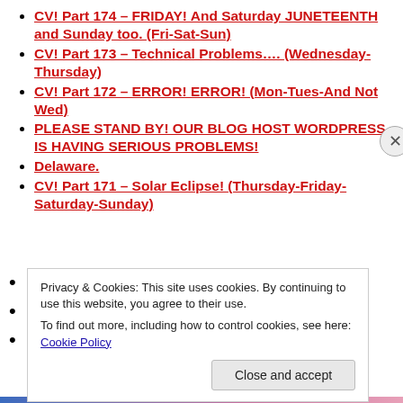CV! Part 174 – FRIDAY! And Saturday JUNETEENTH and Sunday too. (Fri-Sat-Sun)
CV! Part 173 – Technical Problems…. (Wednesday-Thursday)
CV! Part 172 – ERROR! ERROR! (Mon-Tues-And Not Wed)
PLEASE STAND BY! OUR BLOG HOST WORDPRESS IS HAVING SERIOUS PROBLEMS!
Delaware.
CV! Part 171 – Solar Eclipse! (Thursday-Friday-Saturday-Sunday)
Privacy & Cookies: This site uses cookies. By continuing to use this website, you agree to their use. To find out more, including how to control cookies, see here: Cookie Policy
Close and accept